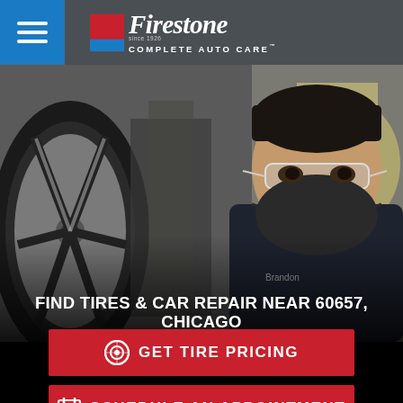Firestone Complete Auto Care
[Figure (photo): Auto mechanic wearing a face mask and safety glasses working near a car tire in a garage. Close-up of an alloy wheel on the left side.]
FIND TIRES & CAR REPAIR NEAR 60657, CHICAGO
GET TIRE PRICING
SCHEDULE AN APPOINTMENT